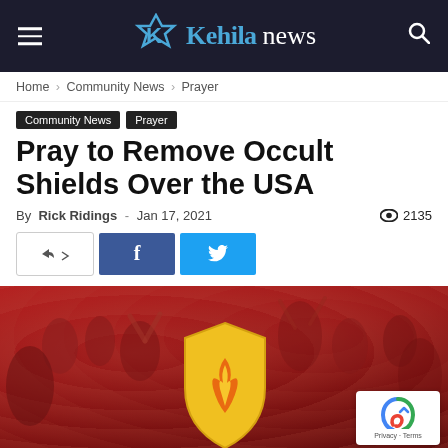Kehila news
Home › Community News › Prayer
Community News
Prayer
Pray to Remove Occult Shields Over the USA
By Rick Ridings - Jan 17, 2021  👁 2135
[Figure (photo): Red-tinted crowd worship photo with yellow shield and flame graphic in center foreground]
[Figure (other): reCAPTCHA Privacy badge overlay in bottom right corner of image]